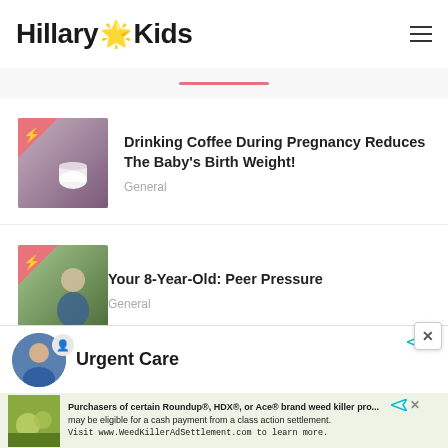Hillary Kids
Drinking Coffee During Pregnancy Reduces The Baby's Birth Weight!
General
Your 8-Year-Old: Peer Pressure
General
Urgent Care
Purchasers of certain Roundup®, HDX®, or Ace® brand weed killer products may be eligible for a cash payment from a class action settlement. Visit www.WeedKillerAdSettlement.com to learn more.